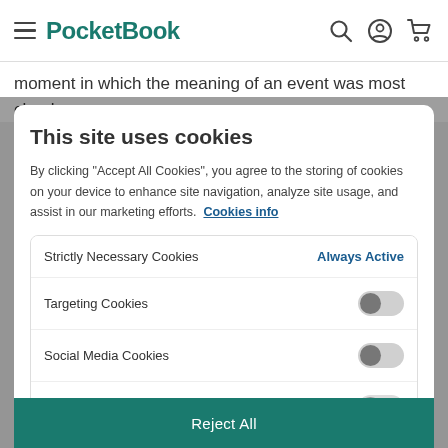PocketBook
moment in which the meaning of an event was most clearly
This site uses cookies
By clicking “Accept All Cookies”, you agree to the storing of cookies on your device to enhance site navigation, analyze site usage, and assist in our marketing efforts. Cookies info
Strictly Necessary Cookies — Always Active
Targeting Cookies — toggle off
Social Media Cookies — toggle off
Functional Cookies — toggle off
Reject All